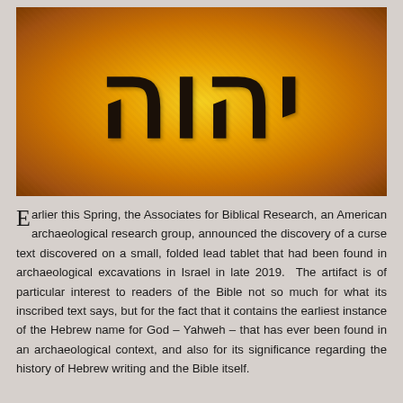[Figure (illustration): Hebrew letters spelling the Tetragrammaton (YHWH / Yahweh) in large black calligraphic script on a golden-orange textured background with warm gradient tones.]
Earlier this Spring, the Associates for Biblical Research, an American archaeological research group, announced the discovery of a curse text discovered on a small, folded lead tablet that had been found in archaeological excavations in Israel in late 2019. The artifact is of particular interest to readers of the Bible not so much for what its inscribed text says, but for the fact that it contains the earliest instance of the Hebrew name for God – Yahweh – that has ever been found in an archaeological context, and also for its significance regarding the history of Hebrew writing and the Bible itself.